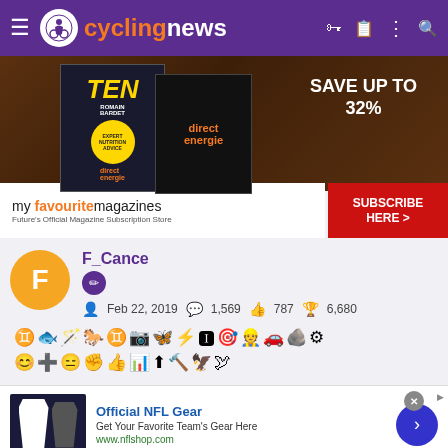cyclingnews
[Figure (photo): Advertisement banner for My Favourite Magazines showing cycling magazine covers with 'SAVE UP TO 32%' text and 'SUBSCRIBE HERE' button]
F_Cance
Feb 22, 2019   1,569   787   6,680
[Figure (infographic): Row of user achievement badges/icons including various cycling and sports related emoji symbols]
[Figure (photo): Advertisement for Official NFL Gear - Get Your Favorite Team's Gear Here - www.nflshop.com]